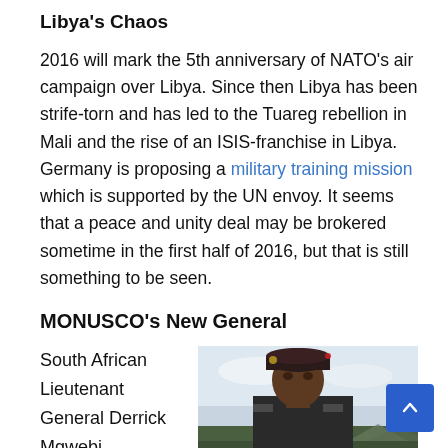Libya's Chaos
2016 will mark the 5th anniversary of NATO's air campaign over Libya. Since then Libya has been strife-torn and has led to the Tuareg rebellion in Mali and the rise of an ISIS-franchise in Libya. Germany is proposing a military training mission which is supported by the UN envoy. It seems that a peace and unity deal may be brokered sometime in the first half of 2016, but that is still something to be seen.
MONUSCO's New General
South African Lieutenant General Derrick Mgwebi
[Figure (photo): Photo of South African Lieutenant General Derrick Mgwebi in military beret and uniform, outdoors]